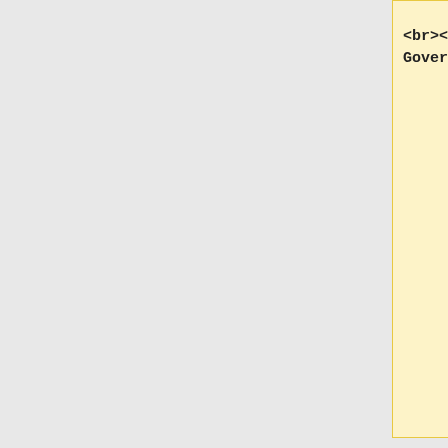<br><br>The Frame of Government
Article 14. Every subject has a right to be secure from all unreasonable searches, and seizures, of his person, his houses, his papers, and all his possessions. All warrants, therefore, are contrary to this right, if